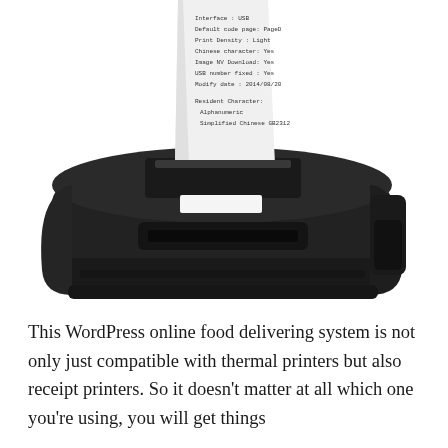[Figure (photo): A black thermal/receipt printer with a white paper receipt printing out of the top. The receipt shows printed text including interface USB, default code page, print density, Chinese character, image NV download, USB number fixed, modify date 2014/08/20, resident character alphanumeric, simplified Chinese GB2312.]
This WordPress online food delivering system is not only just compatible with thermal printers but also receipt printers. So it doesn't matter at all which one you're using, you will get things